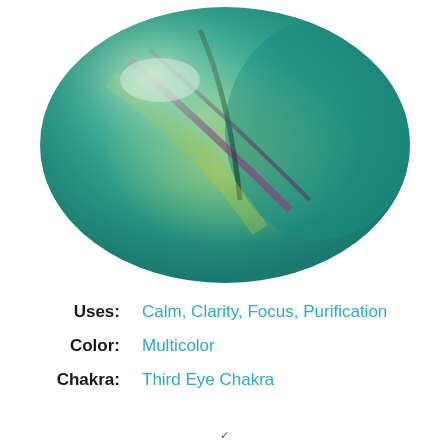[Figure (photo): A polished fluorite stone with multicolor banding — green, yellow-green, purple, and teal hues arranged in swirling patterns across the smooth oval surface.]
Uses: Calm, Clarity, Focus, Purification
Color: Multicolor
Chakra: Third Eye Chakra
v